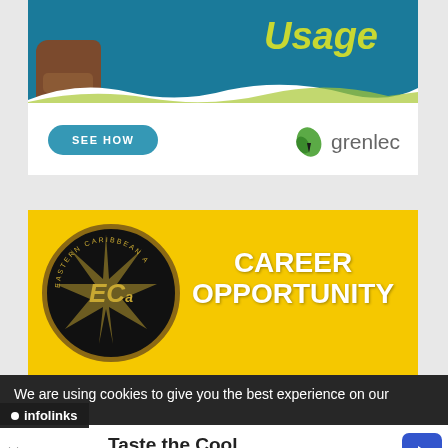[Figure (photo): Grenlec electricity usage advertisement with teal background, hand holding a phone, yellow-green 'Usage' text, 'SEE HOW' button, and Grenlec logo with green leaf icon]
[Figure (photo): Eastern Caribbean career opportunity advertisement with yellow background, EC circular logo on left, and 'CAREER OPPORTUNITY' text in white on right]
We are using cookies to give you the best experience on our
[Figure (logo): infolinks logo bar]
[Figure (infographic): sweetFrog advertisement with 'Taste the Cool' headline and sweetFrog branding in blue]